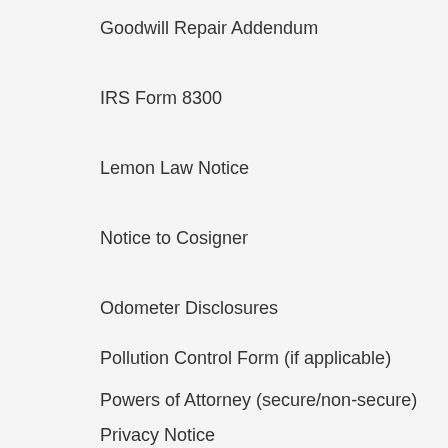Goodwill Repair Addendum
IRS Form 8300
Lemon Law Notice
Notice to Cosigner
Odometer Disclosures
Pollution Control Form (if applicable)
Powers of Attorney (secure/non-secure)
Privacy Notice